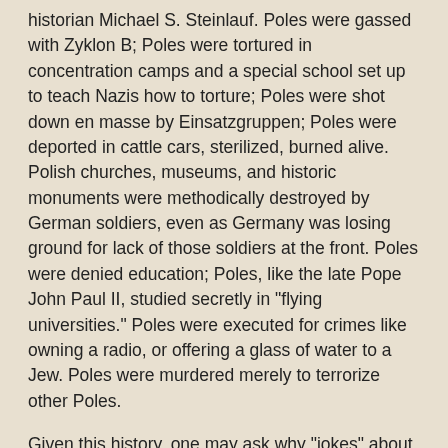historian Michael S. Steinlauf. Poles were gassed with Zyklon B; Poles were tortured in concentration camps and a special school set up to teach Nazis how to torture; Poles were shot down en masse by Einsatzgruppen; Poles were deported in cattle cars, sterilized, burned alive. Polish churches, museums, and historic monuments were methodically destroyed by German soldiers, even as Germany was losing ground for lack of those soldiers at the front. Poles were denied education; Poles, like the late Pope John Paul II, studied secretly in "flying universities." Poles were executed for crimes like owning a radio, or offering a glass of water to a Jew. Poles were murdered merely to terrorize other Poles.
Given this history, one may ask why "jokes" about Polish collaborators exist. This is why: these jokes are lies concocted to support an alternative history that is no less heinous than Holocaust Denial.
America and Britain did nothing after Jan Karski, a Polish agent, brought, firsthand, eyewitness accounts of the Holocaust to the West. America and Britain betrayed Poland at Yalta. Negative images of Poles assuage that guilt. The